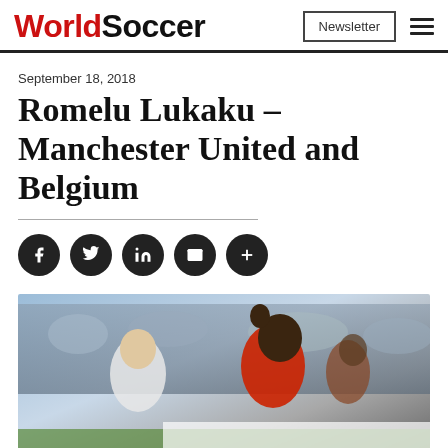WorldSoccer | Newsletter
September 18, 2018
Romelu Lukaku – Manchester United and Belgium
[Figure (photo): Romelu Lukaku in a red Manchester United jersey competing in a football match, raising his fist, with another player in a striped kit beside him and a crowd in the background.]